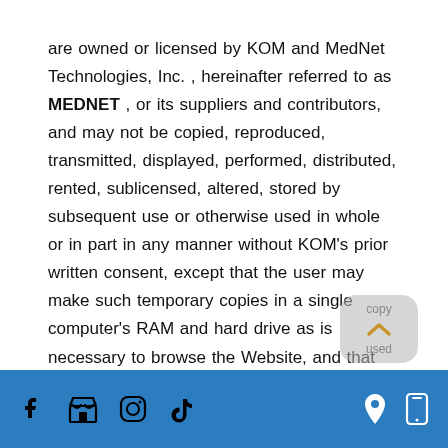are owned or licensed by KOM and MedNet Technologies, Inc. , hereinafter referred to as MEDNET , or its suppliers and contributors, and may not be copied, reproduced, transmitted, displayed, performed, distributed, rented, sublicensed, altered, stored by subsequent use or otherwise used in whole or in part in any manner without KOM's prior written consent, except that the user may make such temporary copies in a single computer's RAM and hard drive as is necessary to browse the Website, and that the user may produce one permanent printout of each page of the Website (unmodified in form, with a copy of this Terms of Use Agreement attached) to be used by the user for personal and non-commercial uses
social icons: facebook, store, instagram, tiktok, location, mobile